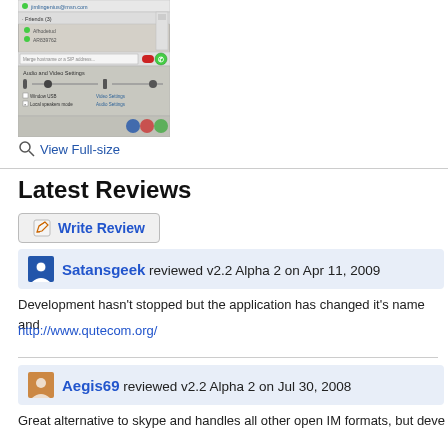[Figure (screenshot): Screenshot of an instant messaging application showing a contacts list with friends group, audio and video settings panel with sliders, and control buttons]
View Full-size
Latest Reviews
[Figure (other): Write Review button with pencil icon]
Satansgeek reviewed v2.2 Alpha 2 on Apr 11, 2009
Development hasn't stopped but the application has changed it's name and
http://www.qutecom.org/
Aegis69 reviewed v2.2 Alpha 2 on Jul 30, 2008
Great alternative to skype and handles all other open IM formats, but deve